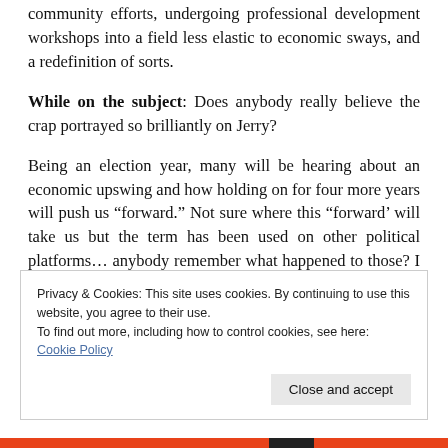community efforts, undergoing professional development workshops into a field less elastic to economic sways, and a redefinition of sorts.
While on the subject: Does anybody really believe the crap portrayed so brilliantly on Jerry?
Being an election year, many will be hearing about an economic upswing and how holding on for four more years will push us “forward.” Not sure where this “forward’ will take us but the term has been used on other political platforms… anybody remember what happened to those? I don’t claim to know what will happen tomorrow but I do know what is happening now… and I'm not impressed.
Privacy & Cookies: This site uses cookies. By continuing to use this website, you agree to their use.
To find out more, including how to control cookies, see here: Cookie Policy